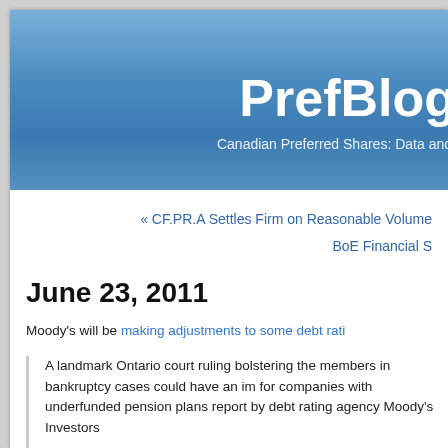PrefBlog — Canadian Preferred Shares: Data and...
« CF.PR.A Settles Firm on Reasonable Volume
BoE Financial S...
June 23, 2011
Moody's will be making adjustments to some debt rati...
A landmark Ontario court ruling bolstering the ... members in bankruptcy cases could have an im... for companies with underfunded pension plans... report by debt rating agency Moody's Investors...
Moody's said a review of 84 Canadian indus...